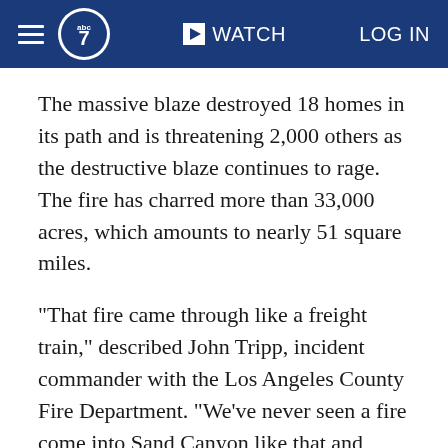WATCH  LOG IN
The massive blaze destroyed 18 homes in its path and is threatening 2,000 others as the destructive blaze continues to rage. The fire has charred more than 33,000 acres, which amounts to nearly 51 square miles.
"That fire came through like a freight train," described John Tripp, incident commander with the Los Angeles County Fire Department. "We've never seen a fire come into Sand Canyon like that and neither have those residents."
The Acton evacuation includes homes along Agua Dulce Canyon Road north to the 14 Freeway, Crown